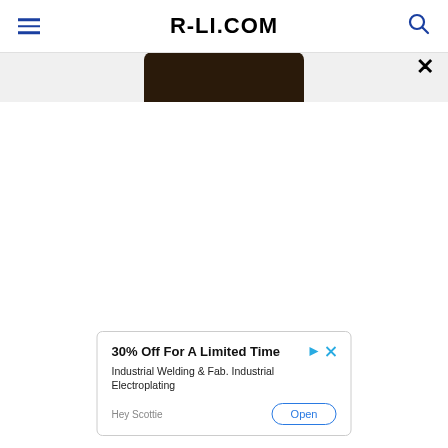R-LI.COM
[Figure (photo): Partial bottom of a phone or device image cropped at the top of the content area, dark/black color, rounded bottom edge visible]
×
[Figure (infographic): Advertisement box: '30% Off For A Limited Time' with play/close icons, body text 'Industrial Welding & Fab. Industrial Electroplating', source 'Hey Scottie', and an 'Open' button]